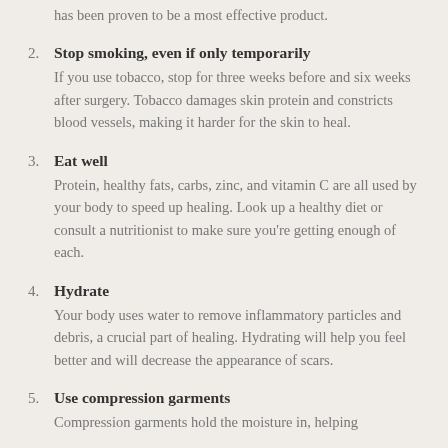has been proven to be a most effective product.
2. Stop smoking, even if only temporarily
If you use tobacco, stop for three weeks before and six weeks after surgery. Tobacco damages skin protein and constricts blood vessels, making it harder for the skin to heal.
3. Eat well
Protein, healthy fats, carbs, zinc, and vitamin C are all used by your body to speed up healing. Look up a healthy diet or consult a nutritionist to make sure you’re getting enough of each.
4. Hydrate
Your body uses water to remove inflammatory particles and debris, a crucial part of healing. Hydrating will help you feel better and will decrease the appearance of scars.
5. Use compression garments
Compression garments hold the moisture in, helping